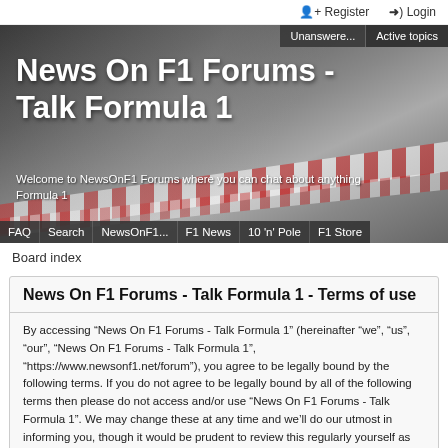Register  Login
[Figure (photo): Formula 1 racing track banner with an F1 car, showing the site header 'News On F1 Forums - Talk Formula 1' and navigation buttons including Unanswered, Active topics, FAQ, Search, NewsOnF1..., F1 News, 10 'n' Pole, F1 Store]
Board index
News On F1 Forums - Talk Formula 1 - Terms of use
By accessing “News On F1 Forums - Talk Formula 1” (hereinafter “we”, “us”, “our”, “News On F1 Forums - Talk Formula 1”, “https://www.newsonf1.net/forum”), you agree to be legally bound by the following terms. If you do not agree to be legally bound by all of the following terms then please do not access and/or use “News On F1 Forums - Talk Formula 1”. We may change these at any time and we’ll do our utmost in informing you, though it would be prudent to review this regularly yourself as